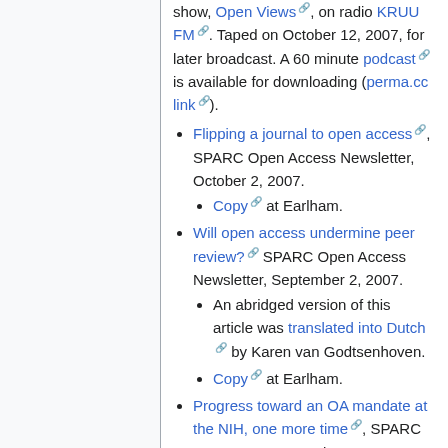show, Open Views, on radio KRUU FM. Taped on October 12, 2007, for later broadcast. A 60 minute podcast is available for downloading (perma.cc link).
Flipping a journal to open access, SPARC Open Access Newsletter, October 2, 2007.
Copy at Earlham.
Will open access undermine peer review? SPARC Open Access Newsletter, September 2, 2007.
An abridged version of this article was translated into Dutch by Karen van Godtsenhoven.
Copy at Earlham.
Progress toward an OA mandate at the NIH, one more time, SPARC Open Access Newsletter, August 2,